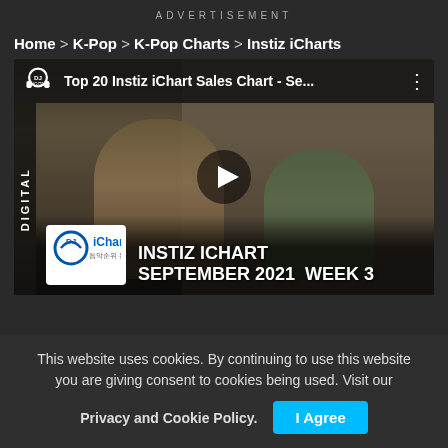ADVERTISEMENT
Home > K-Pop > K-Pop Charts > Instiz iCharts
[Figure (screenshot): YouTube video thumbnail showing two people posing, with DJ Digital logo, title 'Top 20 Instiz iChart Sales Chart - Se...', and overlay text 'Instiz iChart September 2021 Week 3' with play button]
This website uses cookies. By continuing to use this website you are giving consent to cookies being used. Visit our Privacy and Cookie Policy.